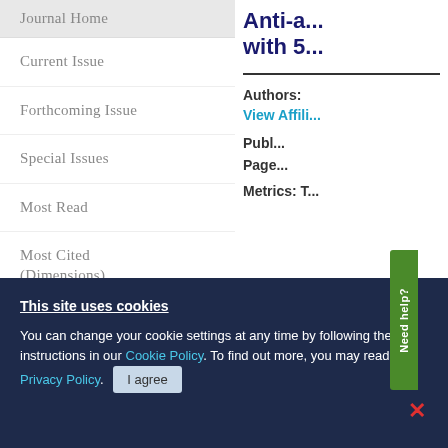Journal Home
Current Issue
Forthcoming Issue
Special Issues
Most Read
Most Cited (Dimensions)
Most Cited (CrossRef)
Social Media
Archive
Anti-a... with 5...
Authors:
View Affili...
Publ...
Page...
Metrics: T...
This site uses cookies
You can change your cookie settings at any time by following the instructions in our Cookie Policy. To find out more, you may read our Privacy Policy.